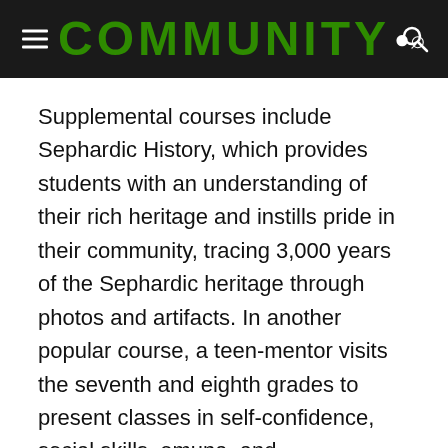COMMUNITY
Supplemental courses include Sephardic History, which provides students with an understanding of their rich heritage and instills pride in their community, tracing 3,000 years of the Sephardic heritage through photos and artifacts. In another popular course, a teen-mentor visits the seventh and eighth grades to present classes in self-confidence, social skills, emuna, and Hashkafa/Torah outlook. These invaluable weekly lessons provide the almost-graduates with the self-esteem and skills vital to handling life's challenges, readying them for their future roles as wives, mothers, and pillars of our community. New this year is a class called the Eternal City, during which eighth graders brush up on their skills by